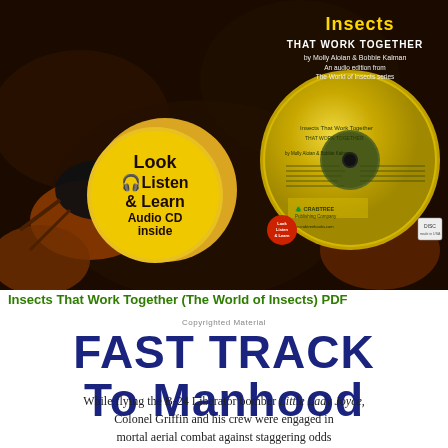[Figure (photo): Book cover for 'Insects That Work Together (The World of Insects)' showing a close-up photo of insects in the background, a gold badge saying 'Look Listen & Learn Audio CD inside', and a CD with Crabtree Publishing Company branding.]
Insects That Work Together (The World of Insects) PDF
Copyrighted Material
FAST TRACK To Manhood
While flying the B-24 Liberator bomber Little Lady Joyce, Colonel Griffin and his crew were engaged in mortal aerial combat against staggering odds that led to their capture and imprisonment in Germany during World War II.